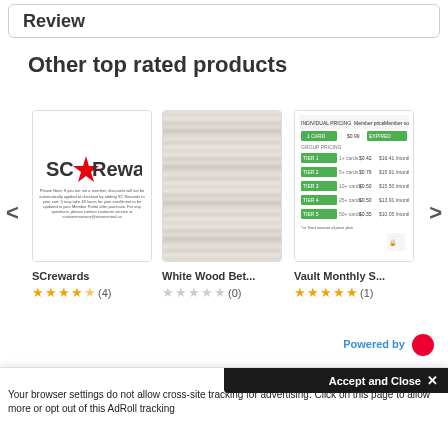Review
Other top rated products
[Figure (screenshot): SC Rewards product card with logo showing 'SC★Rewards' text and fine print below, 4.5 star rating with (4) reviews]
[Figure (screenshot): White Wood Bet... product card showing white wood texture image, 0 star rating with (0) reviews]
[Figure (screenshot): Vault Monthly S... product card showing a pricing table with green rows, 5 star rating with (1) review]
Powered by
Accept and Close ✕
Your browser settings do not allow cross-site tracking for advertising. Click on this page to allow more or opt out of this AdRoll tracking
Ask Us